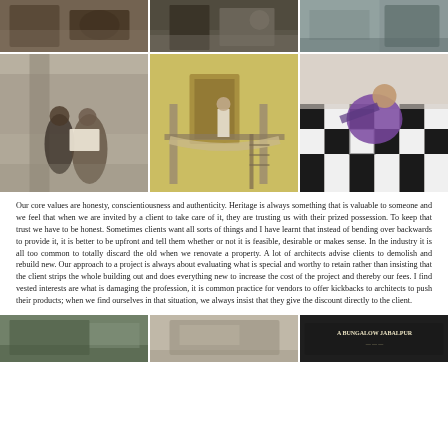[Figure (photo): Top row of three construction/heritage site photographs shown as horizontal strips]
[Figure (photo): Middle row of three larger photographs: two people reviewing documents at a heritage site (left), a person on scaffolding at a yellow building (center), a worker laying decorative black and white marble floor tiles (right)]
Our core values are honesty, conscientiousness and authenticity. Heritage is always something that is valuable to someone and we feel that when we are invited by a client to take care of it, they are trusting us with their prized possession. To keep that trust we have to be honest. Sometimes clients want all sorts of things and I have learnt that instead of bending over backwards to provide it, it is better to be upfront and tell them whether or not it is feasible, desirable or makes sense. In the industry it is all too common to totally discard the old when we renovate a property. A lot of architects advise clients to demolish and rebuild new. Our approach to a project is always about evaluating what is special and worthy to retain rather than insisting that the client strips the whole building out and does everything new to increase the cost of the project and thereby our fees. I find vested interests are what is damaging the profession, it is common practice for vendors to offer kickbacks to architects to push their products; when we find ourselves in that situation, we always insist that they give the discount directly to the client.
[Figure (photo): Bottom row of three photographs: exterior of a building (left), interior/architectural detail (center), signage reading 'A BUNGALOW JABALPUR' (right)]